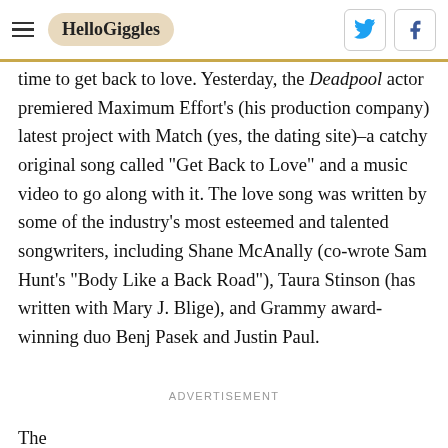HelloGiggles
time to get back to love. Yesterday, the Deadpool actor premiered Maximum Effort's (his production company) latest project with Match (yes, the dating site)–a catchy original song called "Get Back to Love" and a music video to go along with it. The love song was written by some of the industry's most esteemed and talented songwriters, including Shane McAnally (co-wrote Sam Hunt's "Body Like a Back Road"), Taura Stinson (has written with Mary J. Blige), and Grammy award-winning duo Benj Pasek and Justin Paul.
ADVERTISEMENT
The...